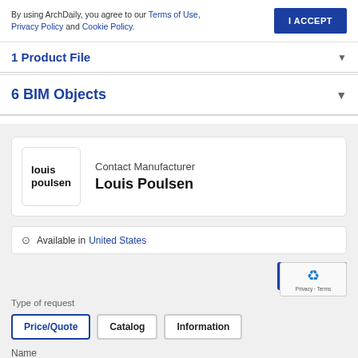By using ArchDaily, you agree to our Terms of Use, Privacy Policy and Cookie Policy.
I ACCEPT
1 Product File
6 BIM Objects
Contact Manufacturer
Louis Poulsen
Available in United States
Send m
Type of request
Price/Quote
Catalog
Information
Name